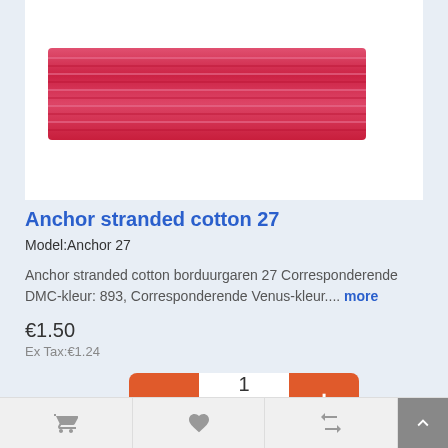[Figure (photo): Red/pink Anchor stranded cotton embroidery thread skein on white background]
Anchor stranded cotton 27
Model:Anchor 27
Anchor stranded cotton borduurgaren 27 Corresponderende DMC-kleur: 893, Corresponderende Venus-kleur.... more
€1.50
Ex Tax:€1.24